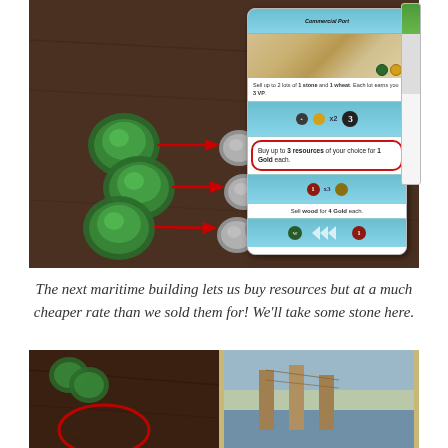[Figure (photo): Board game photo showing green stone tokens with red arrows pointing to gray coin tokens, beside a card showing 'Buy up to 3 resources of your choice for 1 Gold each' circled in red, and another card partially visible on the right.]
The next maritime building lets us buy resources but at a much cheaper rate than we sold them for! We'll take some stone here.
[Figure (photo): Board game photo (partially shown, cropped at bottom), showing dark wooden table on left half and a card with harbor/dock imagery on right half, with partial red circle annotation visible.]